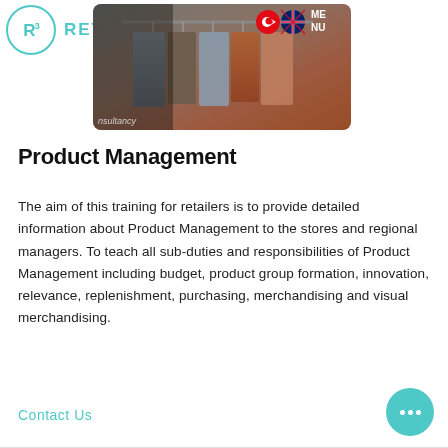R3 RETAIL THREE
[Figure (photo): Hero image of clothing rack with garments in a retail store setting, overlaid with Turkish and UK flags and navigation elements]
Product Management
The aim of this training for retailers is to provide detailed information about Product Management to the stores and regional managers. To teach all sub-duties and responsibilities of Product Management including budget, product group formation, innovation, relevance, replenishment, purchasing, merchandising and visual merchandising.
Contact Us